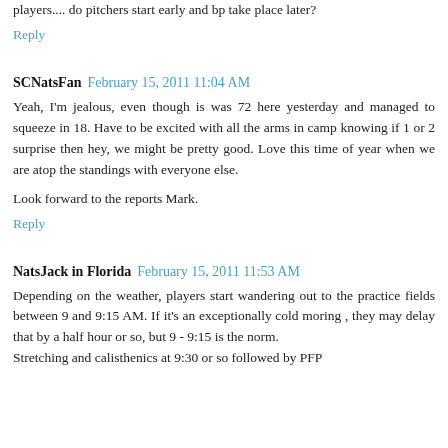players.... do pitchers start early and bp take place later?
Reply
SCNatsFan  February 15, 2011 11:04 AM
Yeah, I'm jealous, even though is was 72 here yesterday and managed to squeeze in 18. Have to be excited with all the arms in camp knowing if 1 or 2 surprise then hey, we might be pretty good. Love this time of year when we are atop the standings with everyone else.

Look forward to the reports Mark.
Reply
NatsJack in Florida  February 15, 2011 11:53 AM
Depending on the weather, players start wandering out to the practice fields between 9 and 9:15 AM. If it's an exceptionally cold moring , they may delay that by a half hour or so, but 9 - 9:15 is the norm.
Stretching and calisthenics at 9:30 or so followed by PFP